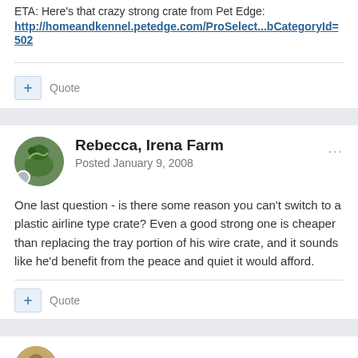ETA: Here's that crazy strong crate from Pet Edge:
http://homeandkennel.petedge.com/ProSelect...bCategoryId=502
+ Quote
Rebecca, Irena Farm
Posted January 9, 2008
One last question - is there some reason you can't switch to a plastic airline type crate? Even a good strong one is cheaper than replacing the tray portion of his wire crate, and it sounds like he'd benefit from the peace and quiet it would afford.
+ Quote
M I